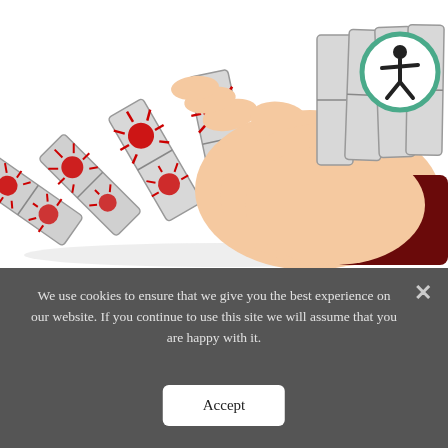[Figure (illustration): Isometric illustration of a hand stopping falling domino pieces that are decorated with red coronavirus/COVID-19 spiky ball icons. The dominoes are gray and white, falling from left to right, with a large peach-colored hand in the center stopping them. The person wears a dark red/maroon sleeve. An accessibility icon (person in a circle with teal border) is visible in the upper right corner.]
We use cookies to ensure that we give you the best experience on our website. If you continue to use this site we will assume that you are happy with it.
Accept